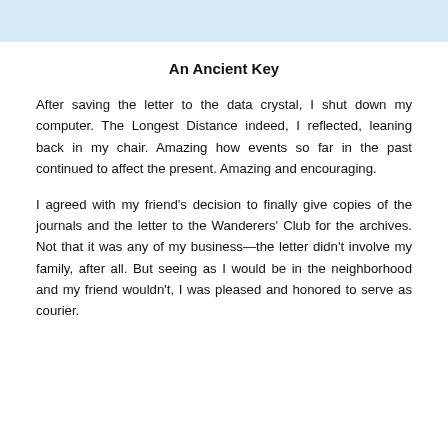An Ancient Key
After saving the letter to the data crystal, I shut down my computer. The Longest Distance indeed, I reflected, leaning back in my chair. Amazing how events so far in the past continued to affect the present. Amazing and encouraging.
I agreed with my friend's decision to finally give copies of the journals and the letter to the Wanderers' Club for the archives. Not that it was any of my business—the letter didn't involve my family, after all. But seeing as I would be in the neighborhood and my friend wouldn't, I was pleased and honored to serve as courier.